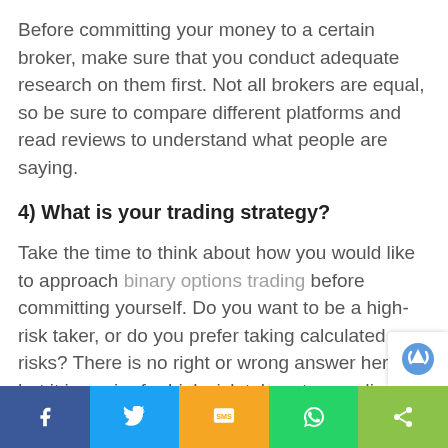Before committing your money to a certain broker, make sure that you conduct adequate research on them first. Not all brokers are equal, so be sure to compare different platforms and read reviews to understand what people are saying.
4) What is your trading strategy?
Take the time to think about how you would like to approach binary options trading before committing yourself. Do you want to be a high-risk taker, or do you prefer taking calculated risks? There is no right or wrong answer here, but it is easier for high-risk takers to use direct trading platforms, while for more conservative traders, it may be easier to start with demo accounts.